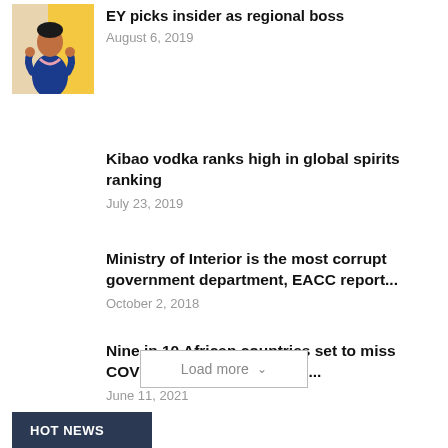[Figure (photo): Photo of a woman in a blue outfit speaking or presenting, with a yellow background element]
EY picks insider as regional boss
August 6, 2019
Kibao vodka ranks high in global spirits ranking
July 23, 2019
Ministry of Interior is the most corrupt government department, EACC report...
October 2, 2018
Nine in 10 African countries set to miss COVID-19 vaccination goal:...
June 11, 2021
Load more
HOT NEWS